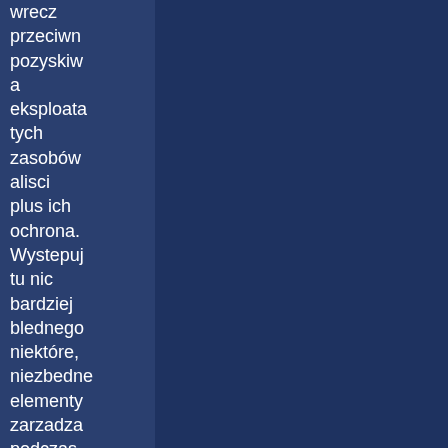wrecz przeciwn pozyskiwa a eksploata tych zasobów alisci plus ich ochrona. Wystepuj tu nic bardziej blednego niektóre, niezbednе elementy zarzadza podczas gdy rozpad pracy, programo